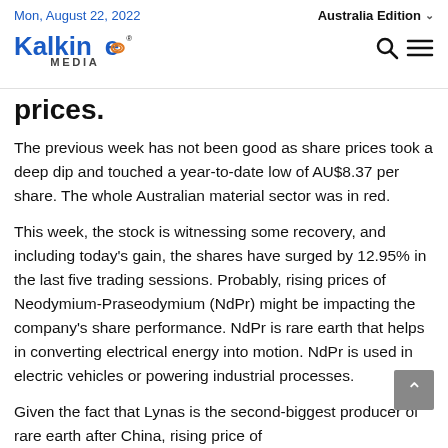Mon, August 22, 2022 | Australia Edition | Kalkine Media
prices.
The previous week has not been good as share prices took a deep dip and touched a year-to-date low of AU$8.37 per share. The whole Australian material sector was in red.
This week, the stock is witnessing some recovery, and including today's gain, the shares have surged by 12.95% in the last five trading sessions. Probably, rising prices of Neodymium-Praseodymium (NdPr) might be impacting the company's share performance. NdPr is rare earth that helps in converting electrical energy into motion. NdPr is used in electric vehicles or powering industrial processes.
Given the fact that Lynas is the second-biggest producer of rare earth after China, rising price of